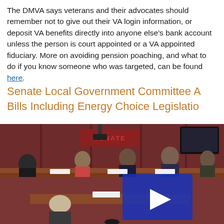The DMVA says veterans and their advocates should remember not to give out their VA login information, or deposit VA benefits directly into anyone else's bank account unless the person is court appointed or a VA appointed fiduciary. More on avoiding pension poaching, and what to do if you know someone who was targeted, can be found here.
Senate Local Government Committee Advances Bills Including Energy Choice Legislation
[Figure (screenshot): Video screenshot of a Senate committee hearing room with people seated at a curved hearing table with mahogany-colored paneling and a Senate sign. A blue video play button overlay is visible in the center-right of the image.]